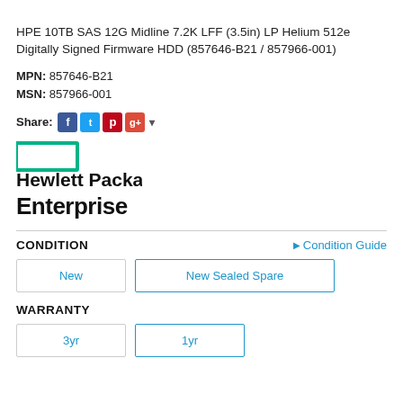HPE 10TB SAS 12G Midline 7.2K LFF (3.5in) LP Helium 512e Digitally Signed Firmware HDD (857646-B21 / 857966-001)
MPN: 857646-B21
MSN: 857966-001
Share:
[Figure (logo): Hewlett Packard Enterprise logo — green rectangle outline followed by bold text 'Hewlett Packard Enterprise']
CONDITION
Condition Guide
New | New Sealed Spare
WARRANTY
3yr | 1yr